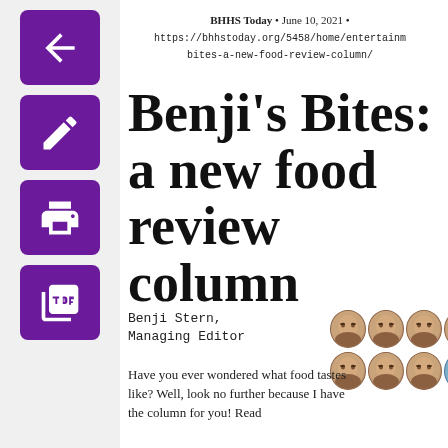BHHS Today • June 10, 2021 • https://bhhstoday.org/5458/home/entertainm bites-a-new-food-review-column/
Benji's Bites: a new food review column
Benji Stern, Managing Editor
[Figure (illustration): A 2-row, 5-column grid of illustrated face icons. Top row: 5 normal-toned round faces with glasses. Bottom row: 3 normal-toned faces with glasses followed by 2 blue-tinted faces with glasses.]
Have you ever wondered what food tastes like? Well, look no further because I have the column for you! Read